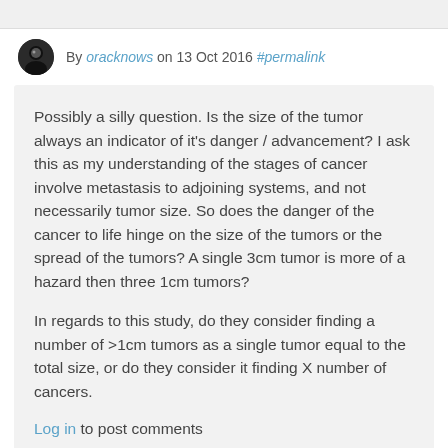By oracknows on 13 Oct 2016 #permalink
Possibly a silly question. Is the size of the tumor always an indicator of it's danger / advancement? I ask this as my understanding of the stages of cancer involve metastasis to adjoining systems, and not necessarily tumor size. So does the danger of the cancer to life hinge on the size of the tumors or the spread of the tumors? A single 3cm tumor is more of a hazard then three 1cm tumors?

In regards to this study, do they consider finding a number of >1cm tumors as a single tumor equal to the total size, or do they consider it finding X number of cancers.
Log in to post comments
By Anonymous Pseudonym (not verified) on 13 Oct